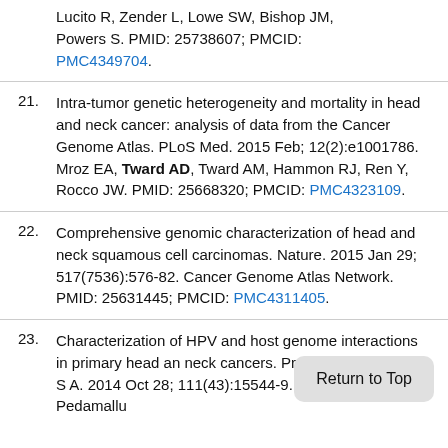Lucito R, Zender L, Lowe SW, Bishop JM, Powers S. PMID: 25738607; PMCID: PMC4349704.
21. Intra-tumor genetic heterogeneity and mortality in head and neck cancer: analysis of data from the Cancer Genome Atlas. PLoS Med. 2015 Feb; 12(2):e1001786. Mroz EA, Tward AD, Tward AM, Hammon RJ, Ren Y, Rocco JW. PMID: 25668320; PMCID: PMC4323109.
22. Comprehensive genomic characterization of head and neck squamous cell carcinomas. Nature. 2015 Jan 29; 517(7536):576-82. Cancer Genome Atlas Network. PMID: 25631445; PMCID: PMC4311405.
23. Characterization of HPV and host genome interactions in primary head and neck cancers. Proc Natl Acad Sci U S A. 2014 Oct 28; 111(43):15544-9. Parfenov M, Pedamallu